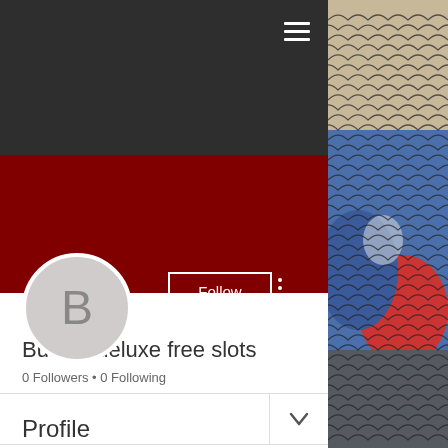[Figure (screenshot): Dark header navigation bar with hamburger menu icon (three horizontal white lines) on the right side]
[Figure (photo): Red profile cover/banner area]
[Figure (photo): Circular avatar with letter B on grey background]
Follow
Buffalo deluxe free slots
0 Followers • 0 Following
Profile
[Figure (photo): Chain-link fence with colorful graffiti (red, blue, white spray paint) visible on the right side of the page]